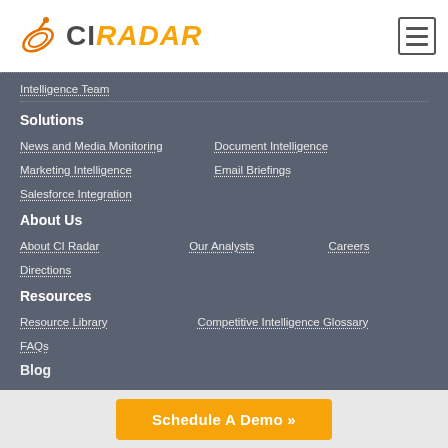[Figure (logo): CI Radar logo with orange satellite dish icon and orange/gray text]
Intelligence Team
Solutions
News and Media Monitoring
Document Intelligence
Marketing Intelligence
Email Briefings
Salesforce Integration
About Us
About CI Radar
Our Analysts
Careers
Directions
Resources
Resource Library
Competitive Intelligence Glossary
FAQs
Blog
Schedule A Demo »